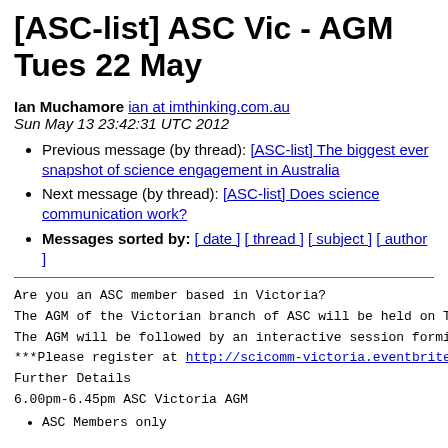[ASC-list] ASC Vic - AGM Tues 22 May
Ian Muchamore ian at imthinking.com.au
Sun May 13 23:42:31 UTC 2012
Previous message (by thread): [ASC-list] The biggest ever snapshot of science engagement in Australia
Next message (by thread): [ASC-list] Does science communication work?
Messages sorted by: [ date ] [ thread ] [ subject ] [ author ]
Are you an ASC member based in Victoria?
The AGM of the Victorian branch of ASC will be held on Tu
The AGM will be followed by an interactive session formin
***Please register at http://scicomm-victoria.eventbrite
Further Details
6.00pm-6.45pm ASC Victoria AGM
ASC Members only